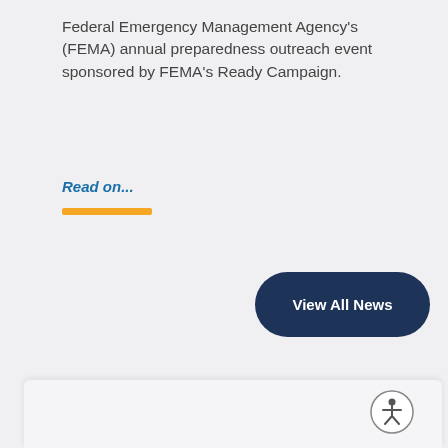Federal Emergency Management Agency's (FEMA) annual preparedness outreach event sponsored by FEMA's Ready Campaign.
Read on...
[Figure (other): Orange horizontal decorative bar separator]
View All News
[Figure (other): Accessibility icon (person in circle) in bottom panel area]